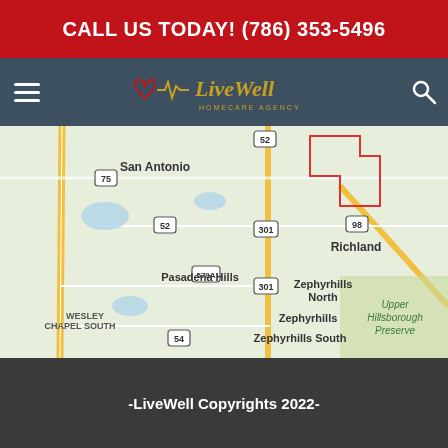CALL US TODAY! (786) 353-5496
[Figure (logo): LiveWell Homecare Agency logo with heart and EKG line graphic in gold/red tones on dark teal navigation bar]
[Figure (map): Google Maps screenshot showing Zephyrhills area in Florida including San Antonio, Pasadena Hills, Richland, Zephyrhills North, Zephyrhills, Zephyrhills South, Wesley Chapel South, Upper Hillsborough Preserve with roads 75, 52, 579A, 301, 98, 54 and a red highlighted region boundary]
-LiveWell Copyrights 2022-